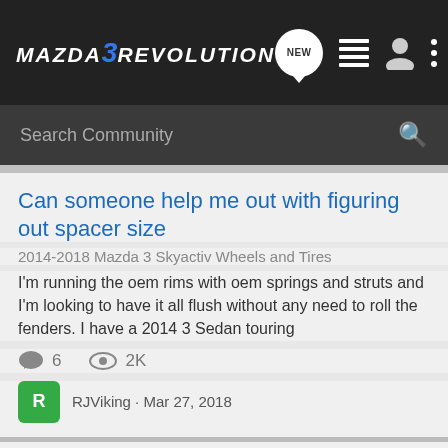MAZDA 3 REVOLUTION
Search Community
Can someone help me out with figuring out spacer size
2014-2018 Mazda 3 Skyactiv Wheels and Tires
I'm running the oem rims with oem springs and struts and I'm looking to have it all flush without any need to roll the fenders. I have a 2014 3 Sedan touring
6 comments · 2K views
RJViking · Mar 27, 2018
Front Tow Hook THREAD SIZE
2014-2018 Mazda 3 Skyactiv Discussion
Guys Im 1 foot deep, stuck/high centered in the snow, Mazda did not give me a tow hook for the front, local Mazda parts does